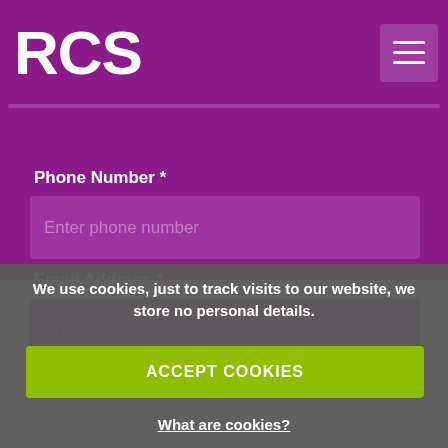[Figure (logo): RCS white bold logo on purple background with hamburger menu button]
Phone Number *
Enter phone number
Email Address *
Enter email
We use cookies, just to track visits to our website, we store no personal details.
ACCEPT COOKIES
What are cookies?